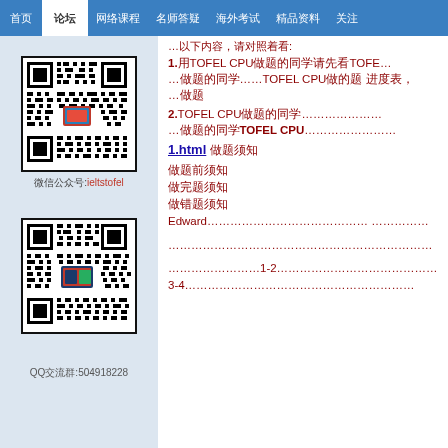首页  论坛  网络课程  名师答疑  海外考试  精品资料  关注
[Figure (other): QR code for ieltstofel WeChat account]
微信公众号:ieltstofel
[Figure (other): QR code for QQ group 504918228]
QQ交流群:504918228
…以下内容，请对照着看:
1.用TOFEL CPU做题的同学请先看TOFE… …做题的同学TOFEL CPU做的题 进度表，…
2.TOFEL CPU做题的同学…… …做题的同学TOFEL CPU…………
1.html  做题须知
做题前须知
做完题须知
做错题须知
Edward…………………………  …………
……………………………………………………
……………………1-2………………………………
3-4……………………………………………